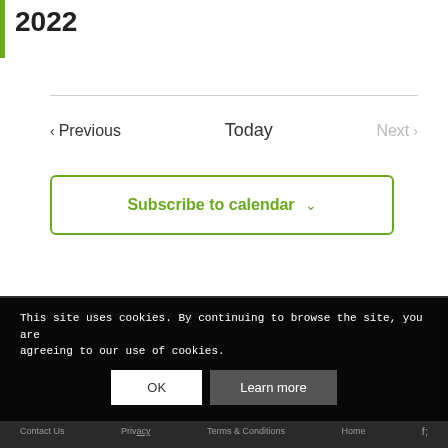2022
< Previous   Today   Next >
Subscribe to calendar
This site uses cookies. By continuing to browse the site, you are agreeing to our use of cookies.
OK   Learn more
© Copyright 2022 · Registration Academics. All Rights Reserved
Contact Us   Privacy   Terms & Conditions   Home